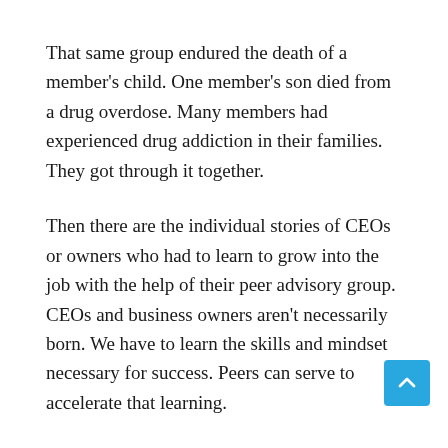That same group endured the death of a member's child. One member's son died from a drug overdose. Many members had experienced drug addiction in their families. They got through it together.
Then there are the individual stories of CEOs or owners who had to learn to grow into the job with the help of their peer advisory group. CEOs and business owners aren't necessarily born. We have to learn the skills and mindset necessary for success. Peers can serve to accelerate that learning.
Sometimes we need to learn trust. A story is told of a CEO who, during the economic downturn in 2009, learned (thanks to his group) that his 35-year-old company was 6 weeks away from a cash flow crisis, putting the entire company at risk. About 80 employees relied on the company for their means of